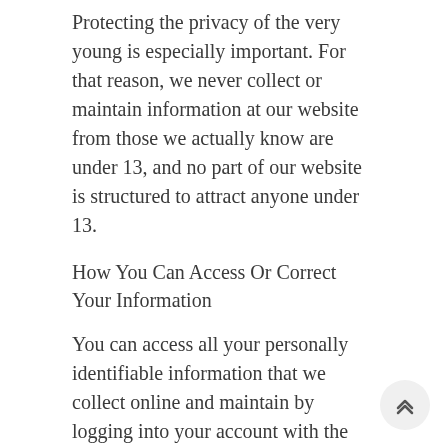Protecting the privacy of the very young is especially important. For that reason, we never collect or maintain information at our website from those we actually know are under 13, and no part of our website is structured to attract anyone under 13.
How You Can Access Or Correct Your Information
You can access all your personally identifiable information that we collect online and maintain by logging into your account with the username and password you created when you registered with us.
You can also correct factual errors in your personally identifiable information by sending us a request that credibly shows error.
To protect your privacy and security, we will also take reasonable steps to verify your identity before granting access or making corrections.